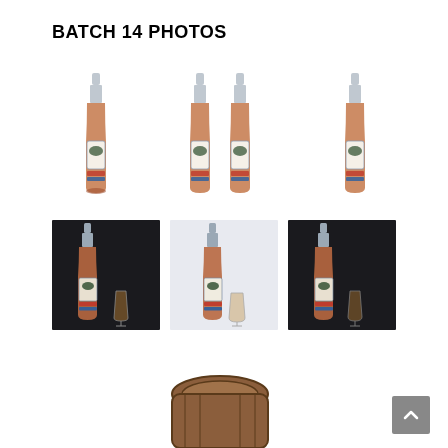BATCH 14 PHOTOS
[Figure (photo): Single Four Bays bourbon bottle on white background]
[Figure (photo): Two Four Bays bourbon bottles on white background]
[Figure (photo): Single Four Bays bourbon bottle on white background, slight angle]
[Figure (photo): Four Bays bourbon bottle with glass on dark background]
[Figure (photo): Four Bays bourbon bottle with glass on light background]
[Figure (photo): Four Bays bourbon bottle with glass on dark background, right side]
[Figure (photo): Partial view of bourbon barrel/bottle, cropped at bottom of page]